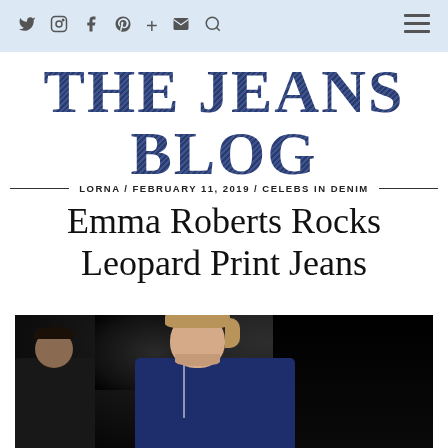THE JEANS BLOG — Navigation bar with social icons and menu
THE JEANS BLOG
LORNA / FEBRUARY 11, 2019 / CELEBS IN DENIM
Emma Roberts Rocks Leopard Print Jeans
[Figure (photo): Emma Roberts stepping out of a car at night, wearing a dark blue denim jacket, with a man visible in the background]